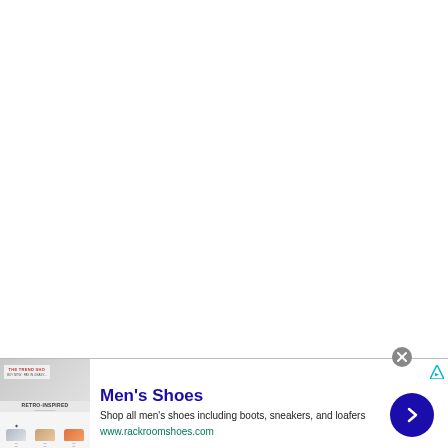[Figure (screenshot): White blank/empty area occupying the top portion of the page]
[Figure (screenshot): Advertisement banner for Rack Room Shoes Men's Shoes. Shows shoe product images on the left, close button (X) at top, ad indicator arrow at top right, headline 'Men's Shoes', description 'Shop all men's shoes including boots, sneakers, and loafers', URL 'www.rackroomshoes.com', and a blue circle arrow CTA button on the right.]